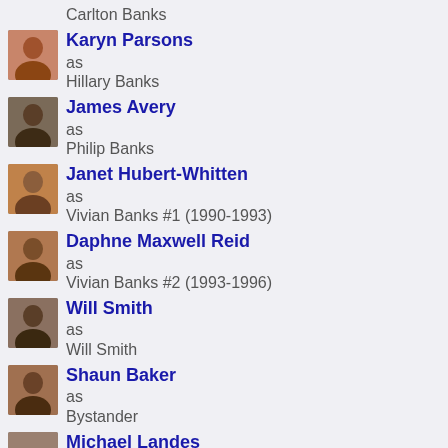Carlton Banks
Karyn Parsons as Hillary Banks
James Avery as Philip Banks
Janet Hubert-Whitten as Vivian Banks #1 (1990-1993)
Daphne Maxwell Reid as Vivian Banks #2 (1993-1996)
Will Smith as Will Smith
Shaun Baker as Bystander
Michael Landes